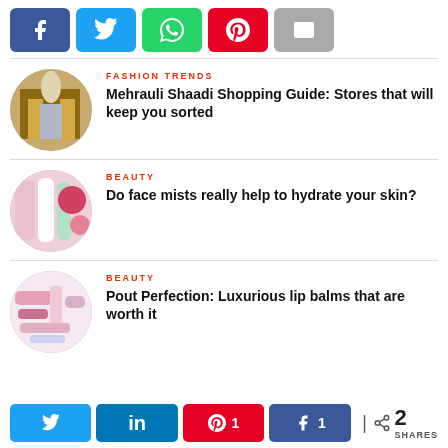[Figure (infographic): Social share buttons: Facebook (blue), Twitter (light blue), WhatsApp (green), Pinterest (red), Email (grey)]
FASHION TRENDS
Mehrauli Shaadi Shopping Guide: Stores that will keep you sorted
[Figure (photo): Circular photo of a bridal fashion store with a woman in a silver/grey gown and chandelier]
BEAUTY
Do face mists really help to hydrate your skin?
[Figure (photo): Circular photo of face mist bottles including Clinique and Kiehl's products with pink flowers]
BEAUTY
Pout Perfection: Luxurious lip balms that are worth it
[Figure (photo): Circular photo of various lip balm and lip care products laid out flat]
[Figure (infographic): Bottom social share bar: Twitter, LinkedIn, Pinterest (1), Facebook (1) share buttons, total 2 SHARES]